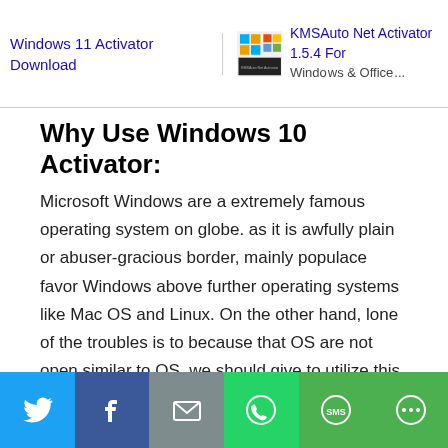Windows 11 Activator Download | KMSAuto Net Activator 1.5.4 For Windows & Office...
Why Use Windows 10 Activator:
Microsoft Windows are a extremely famous operating system on globe. as it is awfully plain or abuser-gracious border, mainly populace favor Windows above further operating systems like Mac OS and Linux. On the other hand, lone of the troubles is to because that OS are not open similar to OS, we should give to utilize this on our PC. People search for Windows 10 Activator as a result we can acquire the filled edition for gratis for the reason of not everybody be capable to purchase a print of window. At this time, give them permission to told...this
[Figure (other): Social share bar with Twitter, Facebook, Email, WhatsApp, SMS, and More buttons]